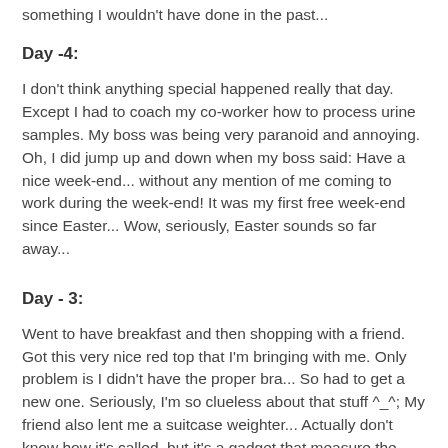something I wouldn't have done in the past...
Day -4:
I don't think anything special happened really that day. Except I had to coach my co-worker how to process urine samples. My boss was being very paranoid and annoying. Oh, I did jump up and down when my boss said: Have a nice week-end... without any mention of me coming to work during the week-end! It was my first free week-end since Easter... Wow, seriously, Easter sounds so far away...
Day - 3:
Went to have breakfast and then shopping with a friend. Got this very nice red top that I'm bringing with me. Only problem is I didn't have the proper bra... So had to get a new one. Seriously, I'm so clueless about that stuff ^_^; My friend also lent me a suitcase weighter... Actually don't know how it's called, but it's a gadget that measure the weight of your